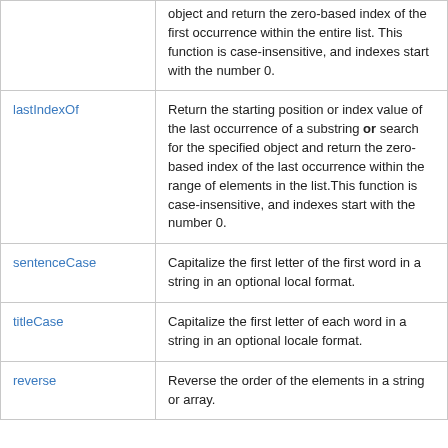| Function | Description |
| --- | --- |
|  | object and return the zero-based index of the first occurrence within the entire list. This function is case-insensitive, and indexes start with the number 0. |
| lastIndexOf | Return the starting position or index value of the last occurrence of a substring or search for the specified object and return the zero-based index of the last occurrence within the range of elements in the list.This function is case-insensitive, and indexes start with the number 0. |
| sentenceCase | Capitalize the first letter of the first word in a string in an optional local format. |
| titleCase | Capitalize the first letter of each word in a string in an optional locale format. |
| reverse | Reverse the order of the elements in a string or array. |